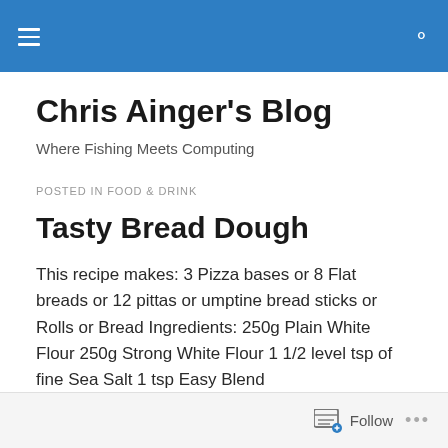Chris Ainger's Blog — navigation header bar
Chris Ainger's Blog
Where Fishing Meets Computing
POSTED IN FOOD & DRINK
Tasty Bread Dough
This recipe makes: 3 Pizza bases or 8 Flat breads or 12 pittas or umptine bread sticks or Rolls or Bread Ingredients: 250g Plain White Flour 250g Strong White Flour 1 1/2 level tsp of fine Sea Salt 1 tsp Easy Blend
Follow